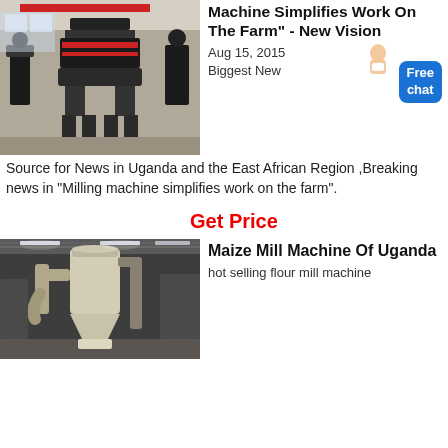[Figure (photo): Industrial milling machines on factory floor with gravel ground]
Machine Simplifies Work On The Farm" - New Vision
Aug 15, 2015
Biggest New Source for News in Uganda and the East African Region ,Breaking news in "Milling machine simplifies work on the farm".
Get Price
[Figure (photo): Interior of industrial mill facility with large cylindrical dust collector/filter equipment]
Maize Mill Machine Of Uganda
hot selling flour mill machine